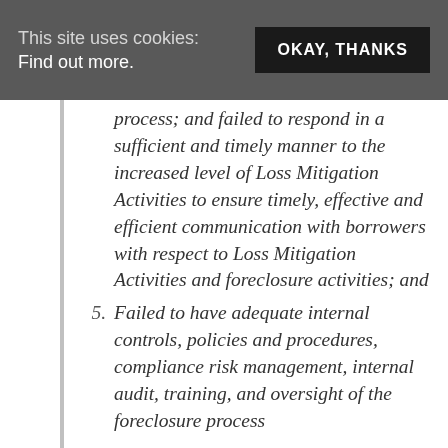This site uses cookies: Find out more. OKAY, THANKS
process; and failed to respond in a sufficient and timely manner to the increased level of Loss Mitigation Activities to ensure timely, effective and efficient communication with borrowers with respect to Loss Mitigation Activities and foreclosure activities; and
5. Failed to have adequate internal controls, policies and procedures, compliance risk management, internal audit, training, and oversight of the foreclosure process